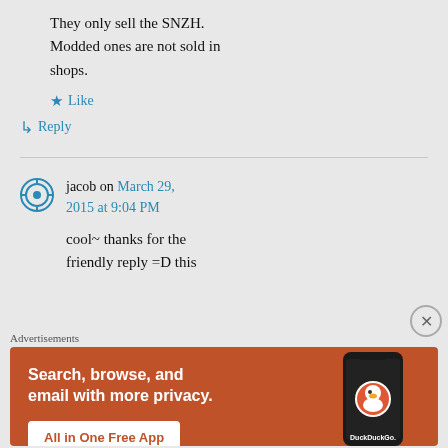They only sell the SNZH. Modded ones are not sold in shops.
★ Like
↳ Reply
jacob on March 29, 2015 at 9:04 PM
cool~ thanks for the friendly reply =D this
Advertisements
[Figure (screenshot): DuckDuckGo advertisement banner with orange background. Text: 'Search, browse, and email with more privacy. All in One Free App'. Shows phone with DuckDuckGo logo.]